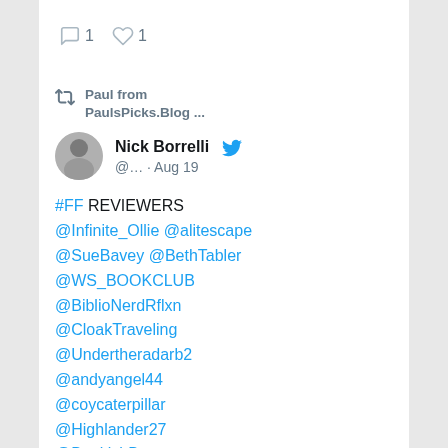[Figure (screenshot): Twitter/social media screenshot showing a retweet card. Top area shows comment icon with count 1 and heart icon with count 1. Below is a retweet by 'Paul from PaulsPicks.Blog ...' of a tweet by Nick Borrelli (@... · Aug 19) listing book reviewer Twitter handles including #FF REVIEWERS @Infinite_Ollie @alitescape @SueBavey @BethTabler @WS_BOOKCLUB @BiblioNerdRflxn @CloakTraveling @Undertheradarb2 @andyangel44 @coycaterpillar @Highlander27 @BookishBenny @book_invasion @theFLOCKAVELI @dshaggyshepherd @book_millennial]